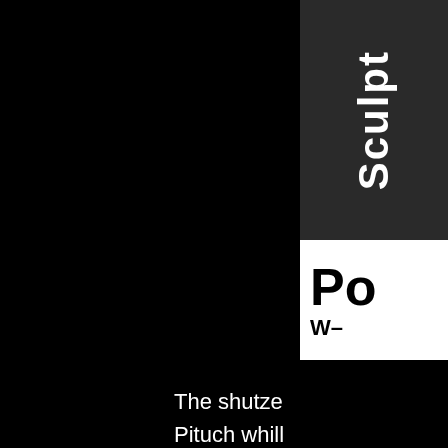Sculpt
Po W–
The shutze Pituch whill unassembl